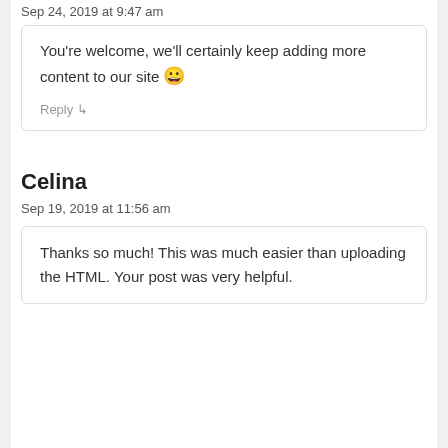Sep 24, 2019 at 9:47 am
You're welcome, we'll certainly keep adding more content to our site 😀
Reply
Celina
Sep 19, 2019 at 11:56 am
Thanks so much! This was much easier than uploading the HTML. Your post was very helpful.